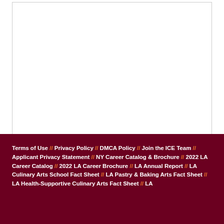[Figure (other): A large empty white text input box with a light gray toolbar/row at the bottom, suggesting a comment or text entry field on a web form.]
Save
Terms of Use // Privacy Policy // DMCA Policy // Join the ICE Team // Applicant Privacy Statement // NY Career Catalog & Brochure // 2022 LA Career Catalog // 2022 LA Career Brochure // LA Annual Report // LA Culinary Arts School Fact Sheet // LA Pastry & Baking Arts Fact Sheet // LA Health-Supportive Culinary Arts Fact Sheet // LA